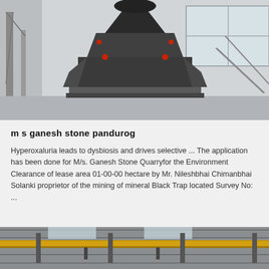[Figure (photo): Industrial cone crusher / mining machine in a warehouse setting. Large black steel machine on a pallet, with red accent bolts, inside a light gray industrial building with windows.]
m s ganesh stone pandurog
Hyperoxaluria leads to dysbiosis and drives selective ... The application has been done for M/s. Ganesh Stone Quarryfor the Environment Clearance of lease area 01-00-00 hectare by Mr. Nileshbhai Chimanbhai Solanki proprietor of the mining of mineral Black Trap located Survey No: ...
[Figure (photo): Interior of an industrial factory or warehouse showing overhead crane beams, steel roof trusses, and yellow crane rails under a corrugated metal roof with skylights.]